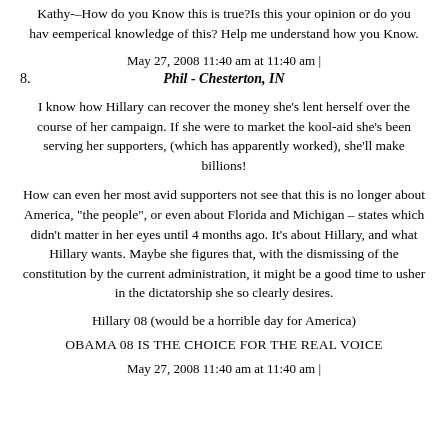Kathy-–How do you Know this is true?Is this your opinion or do you hav eemperical knowledge of this? Help me understand how you Know.
May 27, 2008 11:40 am at 11:40 am |
8.   Phil - Chesterton, IN
I know how Hillary can recover the money she's lent herself over the course of her campaign. If she were to market the kool-aid she's been serving her supporters, (which has apparently worked), she'll make billions!
How can even her most avid supporters not see that this is no longer about America, "the people", or even about Florida and Michigan – states which didn't matter in her eyes until 4 months ago. It's about Hillary, and what Hillary wants. Maybe she figures that, with the dismissing of the constitution by the current administration, it might be a good time to usher in the dictatorship she so clearly desires.
Hillary 08 (would be a horrible day for America)
OBAMA 08 IS THE CHOICE FOR THE REAL VOICE
May 27, 2008 11:40 am at 11:40 am |